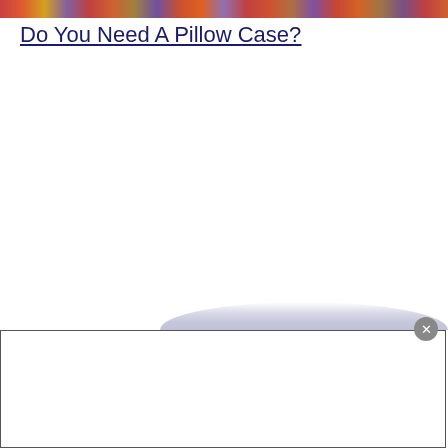[Figure (photo): Colorful pencils or art supplies arranged together, cropped strip at the top of the page]
Do You Need A Pillow Case?
[Figure (screenshot): White popup dialog box with a close (X) button in the upper right corner, partially visible at the bottom of the page, with a shadow/curved element above it]